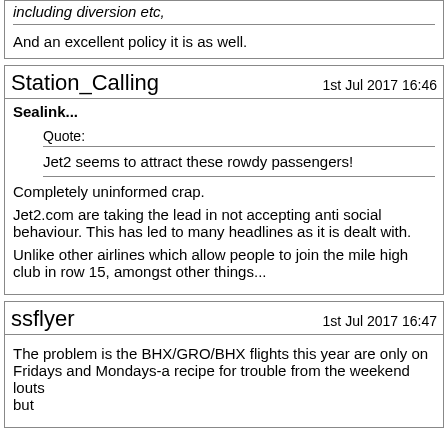including diversion etc,
And an excellent policy it is as well.
Station_Calling    1st Jul 2017 16:46
Sealink...
Quote: Jet2 seems to attract these rowdy passengers!
Completely uninformed crap.
Jet2.com are taking the lead in not accepting anti social behaviour. This has led to many headlines as it is dealt with.
Unlike other airlines which allow people to join the mile high club in row 15, amongst other things...
ssflyer    1st Jul 2017 16:47
The problem is the BHX/GRO/BHX flights this year are only on Fridays and Mondays-a recipe for trouble from the weekend louts but